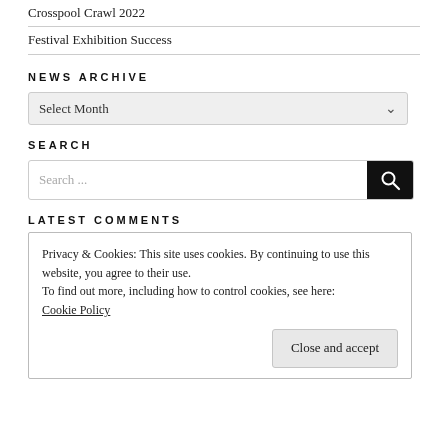Crosspool Crawl 2022
Festival Exhibition Success
NEWS ARCHIVE
Select Month
SEARCH
Search ...
LATEST COMMENTS
Privacy & Cookies: This site uses cookies. By continuing to use this website, you agree to their use.
To find out more, including how to control cookies, see here:
Cookie Policy
Close and accept